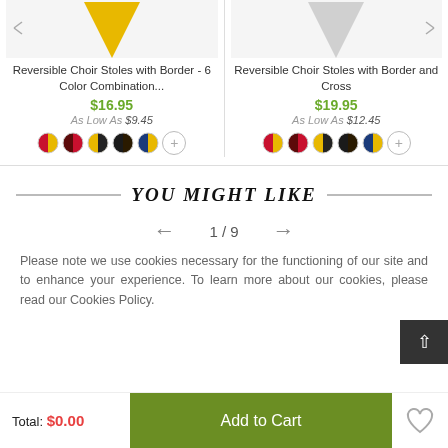[Figure (photo): Product thumbnail of Reversible Choir Stoles with Border - 6 Color Combination, showing yellow stole shape on light background with navigation arrows]
Reversible Choir Stoles with Border - 6 Color Combination...
$16.95
As Low As $9.45
[Figure (photo): Color swatches: red/gold, dark-red, gold/black, black, blue/gold, plus more]
[Figure (photo): Product thumbnail of Reversible Choir Stoles with Border and Cross, showing white/grey stole shape on light background with navigation arrows]
Reversible Choir Stoles with Border and Cross
$19.95
As Low As $12.45
[Figure (photo): Color swatches: red/gold, dark-red, gold/black, black, blue/gold, plus more]
YOU MIGHT LIKE
1 / 9
Please note we use cookies necessary for the functioning of our site and to enhance your experience. To learn more about our cookies, please read our Cookies Policy.
Total: $0.00
Add to Cart